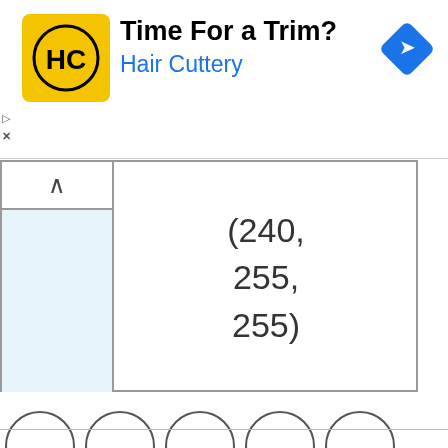[Figure (infographic): Hair Cuttery advertisement banner with yellow logo showing 'HC', text 'Time For a Trim?' and 'Hair Cuttery' in blue, and a blue diamond navigation arrow icon on the right.]
|  | (240, 255, 255) |
[Figure (infographic): Five empty circles in a horizontal row, evenly spaced.]